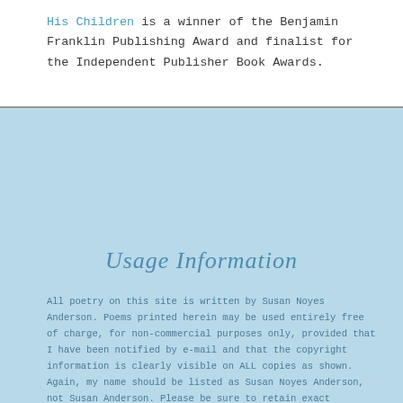His Children is a winner of the Benjamin Franklin Publishing Award and finalist for the Independent Publisher Book Awards.
Usage Information
All poetry on this site is written by Susan Noyes Anderson. Poems printed herein may be used entirely free of charge, for non-commercial purposes only, provided that I have been notified by e-mail and that the copyright information is clearly visible on ALL copies as shown. Again, my name should be listed as Susan Noyes Anderson, not Susan Anderson. Please be sure to retain exact formatting and line breaks. Poems quoted online should include a link back to this site.
Authors, publishers, composers and other artists, etc. must contact me personally for specific permissions.